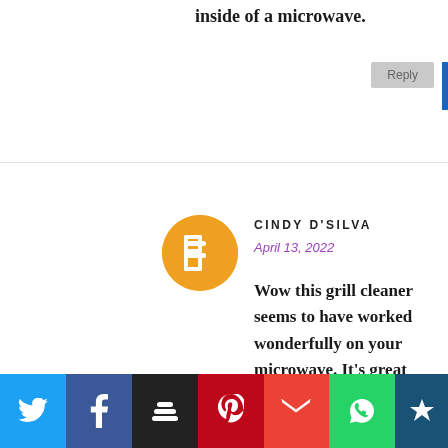inside of a microwave.
Reply
CINDY D'SILVA
April 13, 2022
Wow this grill cleaner seems to have worked wonderfully on your microwave. It's great that we have such products to make our lives easy.
Reply
[Figure (logo): Blogger orange circle logo icon]
[Figure (infographic): Social media share bar with Twitter, Facebook, Buffer, Pinterest, Gmail, WhatsApp, and an additional icon]